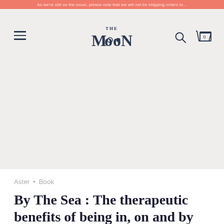As we're still on the moon, please note that we will not be shipping orders to...
[Figure (screenshot): Website navigation header with hamburger menu on left, 'THE MOON' logo in center, search and cart icons on right, on a light grey background]
Aster • Book
By The Sea : The therapeutic benefits of being in, on and by the water